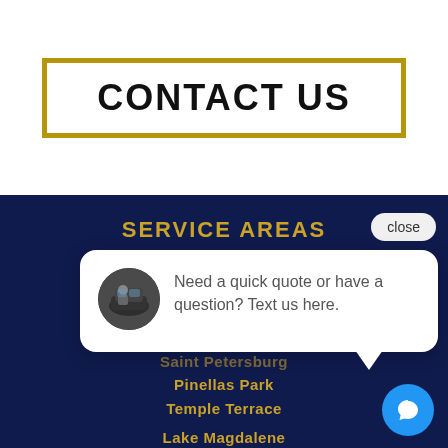CONTACT US
SERVICE AREAS
[Figure (screenshot): Chat popup widget with avatar photo of a black SUV/Cadillac and driver, with message: 'Need a quick quote or have a question? Text us here.' and a close button. A blue chat icon button is in the bottom right.]
Saint Petersburg
Pinellas Park
Temple Terrace
Lake Magdalene